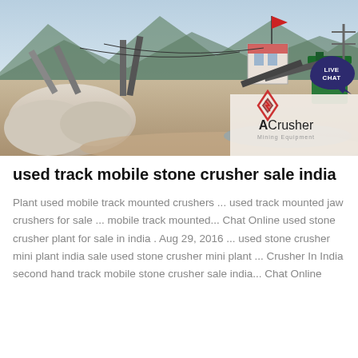[Figure (photo): Outdoor stone crushing plant facility with machinery, conveyor belts, mountains in background, and a flag. ACrusher Mining Equipment logo overlay in bottom right corner.]
used track mobile stone crusher sale india
Plant used mobile track mounted crushers ... used track mounted jaw crushers for sale ... mobile track mounted... Chat Online used stone crusher plant for sale in india . Aug 29, 2016 ... used stone crusher mini plant india sale used stone crusher mini plant ... Crusher In India second hand track mobile stone crusher sale india... Chat Online